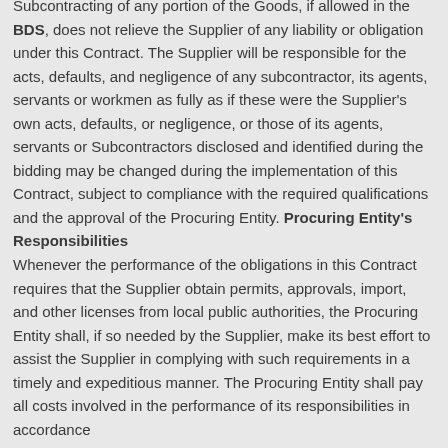Subcontracting of any portion of the Goods, if allowed in the BDS, does not relieve the Supplier of any liability or obligation under this Contract. The Supplier will be responsible for the acts, defaults, and negligence of any subcontractor, its agents, servants or workmen as fully as if these were the Supplier's own acts, defaults, or negligence, or those of its agents, servants or Subcontractors disclosed and identified during the bidding may be changed during the implementation of this Contract, subject to compliance with the required qualifications and the approval of the Procuring Entity. Procuring Entity's Responsibilities Whenever the performance of the obligations in this Contract requires that the Supplier obtain permits, approvals, import, and other licenses from local public authorities, the Procuring Entity shall, if so needed by the Supplier, make its best effort to assist the Supplier in complying with such requirements in a timely and expeditious manner. The Procuring Entity shall pay all costs involved in the performance of its responsibilities in accordance